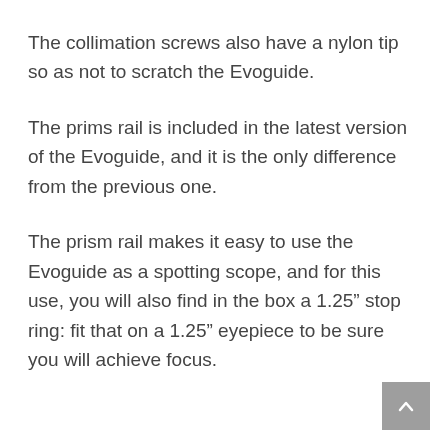The collimation screws also have a nylon tip so as not to scratch the Evoguide.
The prims rail is included in the latest version of the Evoguide, and it is the only difference from the previous one.
The prism rail makes it easy to use the Evoguide as a spotting scope, and for this use, you will also find in the box a 1.25” stop ring: fit that on a 1.25” eyepiece to be sure you will achieve focus.